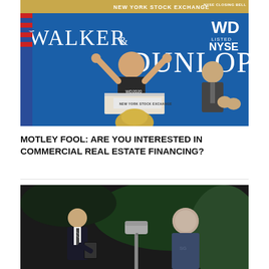[Figure (photo): Photo of a man in a WD2020 t-shirt giving thumbs up at the New York Stock Exchange podium, with Walker & Dunlop branding on a blue backdrop and NYSE closing bell signage. Another man in a suit applauds to the right.]
MOTLEY FOOL: ARE YOU INTERESTED IN COMMERCIAL REAL ESTATE FINANCING?
[Figure (photo): Nighttime photo of a man in a suit holding a clipboard or device next to a mailbox, with another person whose face is blurred standing nearby in a blue shirt.]